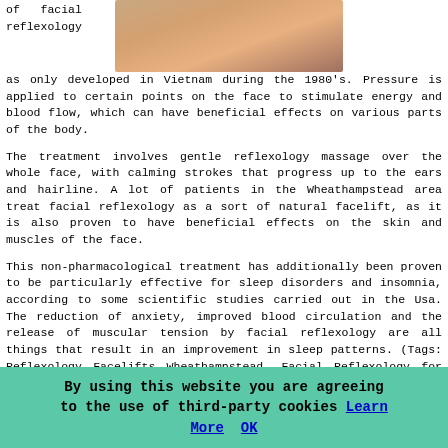of facial reflexology
[Figure (photo): Close-up photo of hands or face being touched, skin tones in warm beige and brown]
as only developed in Vietnam during the 1980's. Pressure is applied to certain points on the face to stimulate energy and blood flow, which can have beneficial effects on various parts of the body.
The treatment involves gentle reflexology massage over the whole face, with calming strokes that progress up to the ears and hairline. A lot of patients in the Wheathampstead area treat facial reflexology as a sort of natural facelift, as it is also proven to have beneficial effects on the skin and muscles of the face.
This non-pharmacological treatment has additionally been proven to be particularly effective for sleep disorders and insomnia, according to some scientific studies carried out in the Usa. The reduction of anxiety, improved blood circulation and the release of muscular tension by facial reflexology are all things that result in an improvement in sleep patterns. (Tags: Reflexology Facelifts Wheathampstead, Facial Reflexology for Insomnia Wheathampstead, Facial Reflexology Wheathampstead, Facial Reflexology Treatments Wheathampstead)
By using this website you are agreeing to the use of third-party cookies Learn More OK